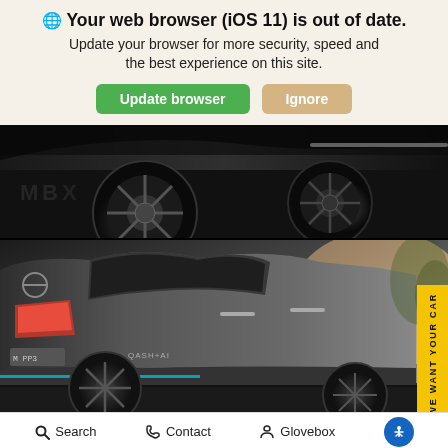🌐 Your web browser (iOS 11) is out of date. Update your browser for more security, speed and the best experience on this site.
Update browser | Ignore
[Figure (photo): Close-up dark photo of a car's wheels/underbody from below]
[Figure (photo): Gray Nissan SUV (X-Trail/Qashqai) seen from rear three-quarter angle on a road with warm sunlit background. A yellow 'WE WANT YOUR CAR' vertical tab is on the right edge.]
[Figure (other): Messages chat bubble icon in red/pink outline with three dots inside]
Messages
Search   Contact   Glovebox